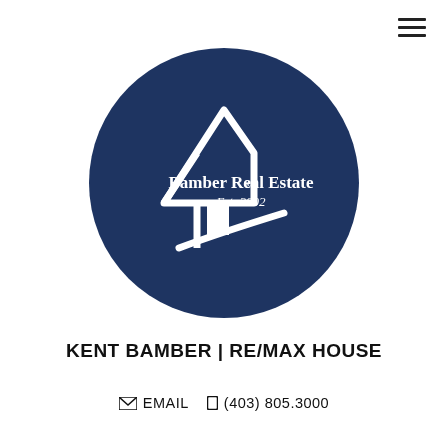[Figure (logo): Bamber Real Estate circular logo on dark navy blue background. Features a stylized white house outline and an upward arrow. Text reads 'Bamber Real Estate® Est. 2002' in white serif font.]
KENT BAMBER | RE/MAX HOUSE
EMAIL  (403) 805.3000